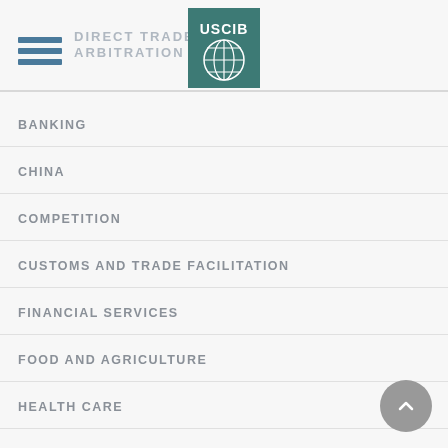DIRECT TRADE ARBITRATION
[Figure (logo): USCIB logo — teal square with globe and letters USCIB in white]
BANKING
CHINA
COMPETITION
CUSTOMS AND TRADE FACILITATION
FINANCIAL SERVICES
FOOD AND AGRICULTURE
HEALTH CARE